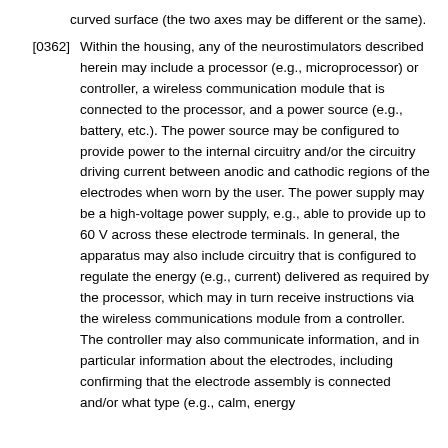curved surface (the two axes may be different or the same).
[0362] Within the housing, any of the neurostimulators described herein may include a processor (e.g., microprocessor) or controller, a wireless communication module that is connected to the processor, and a power source (e.g., battery, etc.). The power source may be configured to provide power to the internal circuitry and/or the circuitry driving current between anodic and cathodic regions of the electrodes when worn by the user. The power supply may be a high-voltage power supply, e.g., able to provide up to 60 V across these electrode terminals. In general, the apparatus may also include circuitry that is configured to regulate the energy (e.g., current) delivered as required by the processor, which may in turn receive instructions via the wireless communications module from a controller. The controller may also communicate information, and in particular information about the electrodes, including confirming that the electrode assembly is connected and/or what type (e.g., calm, energy